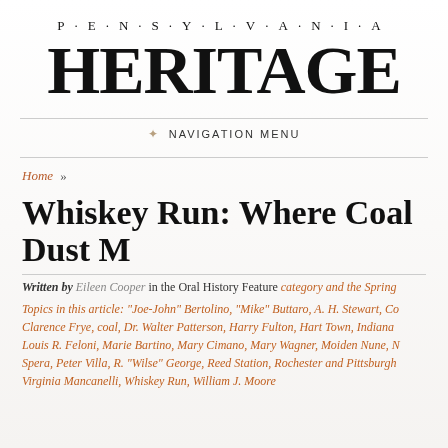P·E·N·S·Y·L·V·A·N·I·A HERITAGE
NAVIGATION MENU
Home »
Whiskey Run: Where Coal Dust M
Written by Eileen Cooper in the Oral History Feature category and the Spring
Topics in this article: "Joe-John" Bertolino, "Mike" Buttaro, A. H. Stewart, Co Clarence Frye, coal, Dr. Walter Patterson, Harry Fulton, Hart Town, Indiana Louis R. Feloni, Marie Bartino, Mary Cimano, Mary Wagner, Moiden Nune, N Spera, Peter Villa, R. "Wilse" George, Reed Station, Rochester and Pittsburgh Virginia Mancanelli, Whiskey Run, William J. Moore